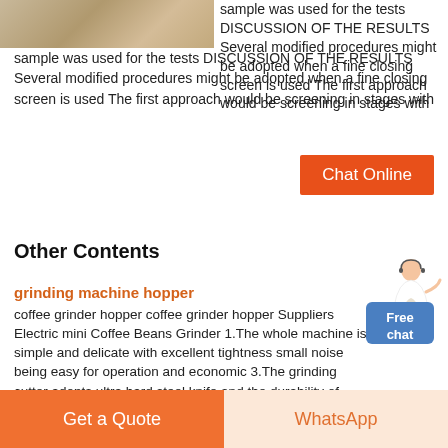[Figure (photo): Close-up of sandy or grainy textured surface]
sample was used for the tests DISCUSSION OF THE RESULTS Several modified procedures might be adopted when a fine closing screen is used The first approach would be screening in stages with
[Figure (other): Chat Online button - orange rectangle]
Other Contents
[Figure (illustration): Person with headset illustration and Free chat badge]
grinding machine hopper
coffee grinder hopper coffee grinder hopper Suppliers Electric mini Coffee Beans Grinder 1.The whole machine is simple and delicate with excellent tightness small noise being easy for operation and economic 3.The grinding cutter adopts ultra hard steel knife and the durability of blade and the grinding speed can be 3times higher than that of other fake products 4.8 gear coarse degree and fineness are adjusted freely 5.Magnetic deice is set in Krups Coffee GrinderKRUPS Silent Vortex Electric Grinder for Spice Dry Herbs and Coffee 12 Cups Black POWERFUL EFFICIENT AND SUPER SILENT Grinds coffee beans for 12 cups in 15 seconds for drip coffee with minimum grinding noise INNOVATIVE TECHNOLOGY Patent Pending Vortex Spin Technology...
[Figure (other): Get a Quote button and WhatsApp button at bottom]